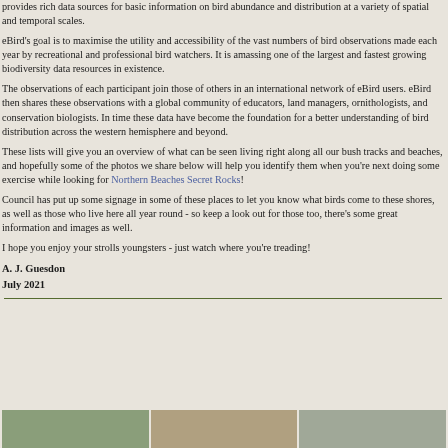provides rich data sources for basic information on bird abundance and distribution at a variety of spatial and temporal scales.
eBird's goal is to maximise the utility and accessibility of the vast numbers of bird observations made each year by recreational and professional bird watchers. It is amassing one of the largest and fastest growing biodiversity data resources in existence.
The observations of each participant join those of others in an international network of eBird users. eBird then shares these observations with a global community of educators, land managers, ornithologists, and conservation biologists. In time these data have become the foundation for a better understanding of bird distribution across the western hemisphere and beyond.
These lists will give you an overview of what can be seen living right along all our bush tracks and beaches, and hopefully some of the photos we share below will help you identify them when you're next doing some exercise while looking for Northern Beaches Secret Rocks!
Council has put up some signage in some of these places to let you know what birds come to these shores, as well as those who live here all year round - so keep a look out for those too, there's some great information and images as well.
I hope you enjoy your strolls youngsters - just watch where you're treading!
A. J. Guesdon
July 2021
[Figure (photo): Three photos side by side at the bottom of the page showing nature/bird scenes]